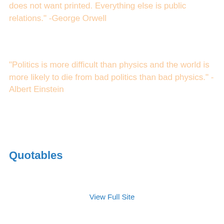does not want printed. Everything else is public relations." -George Orwell
"Politics is more difficult than physics and the world is more likely to die from bad politics than bad physics." -Albert Einstein
Quotables
View Full Site